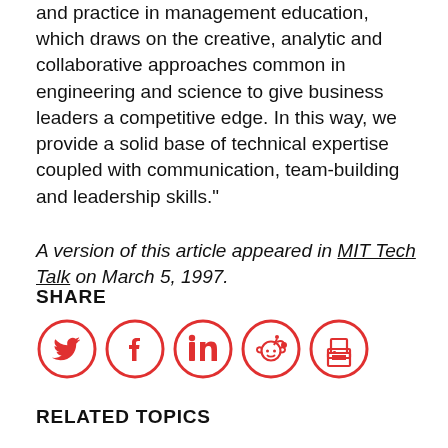and practice in management education, which draws on the creative, analytic and collaborative approaches common in engineering and science to give business leaders a competitive edge. In this way, we provide a solid base of technical expertise coupled with communication, team-building and leadership skills."
A version of this article appeared in MIT Tech Talk on March 5, 1997.
SHARE
[Figure (infographic): Five circular social media/share icons in red outline style: Twitter (bird), Facebook (f), LinkedIn (in), Reddit (alien), and Print (printer)]
RELATED TOPICS